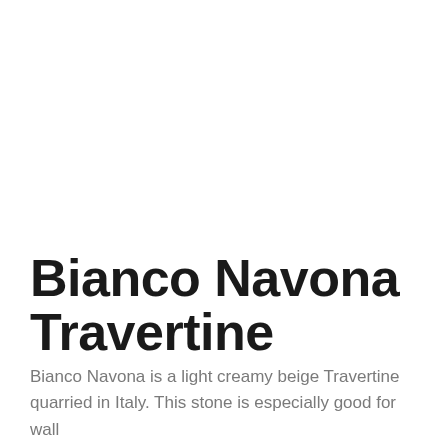Bianco Navona Travertine
Bianco Navona is a light creamy beige Travertine quarried in Italy. This stone is especially good for wall